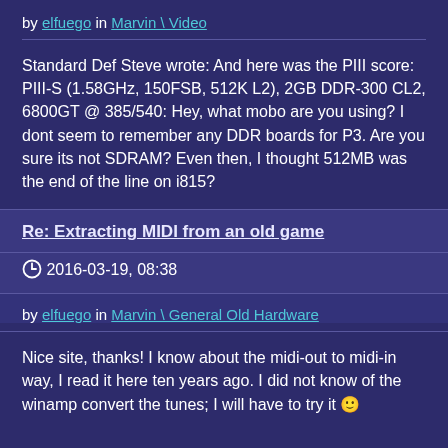by elfuego in Marvin \ Video
Standard Def Steve wrote: And here was the PIII score: PIII-S (1.58GHz, 150FSB, 512K L2), 2GB DDR-300 CL2, 6800GT @ 385/540: Hey, what mobo are you using? I dont seem to remember any DDR boards for P3. Are you sure its not SDRAM? Even then, I thought 512MB was the end of the line on i815?
Re: Extracting MIDI from an old game
2016-03-19, 08:38
by elfuego in Marvin \ General Old Hardware
Nice site, thanks! I know about the midi-out to midi-in way, I read it here ten years ago. I did not know of the winamp convert the tunes; I will have to try it 🙂